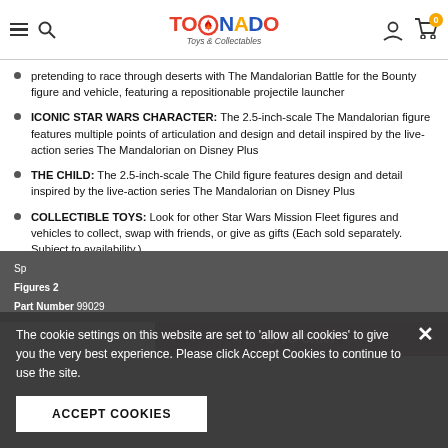Tornado Toys & Collectables - navigation header with logo, search, user, cart icons
pretending to race through deserts with The Mandalorian Battle for the Bounty figure and vehicle, featuring a repositionable projectile launcher
ICONIC STAR WARS CHARACTER: The 2.5-inch-scale The Mandalorian figure features multiple points of articulation and design and detail inspired by the live-action series The Mandalorian on Disney Plus
THE CHILD: The 2.5-inch-scale The Child figure features design and detail inspired by the live-action series The Mandalorian on Disney Plus
COLLECTIBLE TOYS: Look for other Star Wars Mission Fleet figures and vehicles to collect, swap with friends, or give as gifts (Each sold separately. Subject to availability.)
Sp... Figures 2 Part Number 99029
The cookie settings on this website are set to 'allow all cookies' to give you the very best experience. Please click Accept Cookies to continue to use the site.
ACCEPT COOKIES